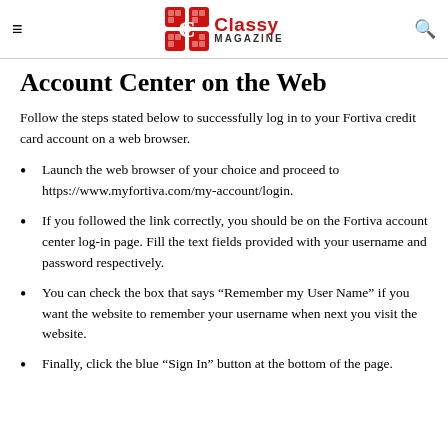Classy MAGAZINE
Account Center on the Web
Follow the steps stated below to successfully log in to your Fortiva credit card account on a web browser.
Launch the web browser of your choice and proceed to https://www.myfortiva.com/my-account/login.
If you followed the link correctly, you should be on the Fortiva account center log-in page. Fill the text fields provided with your username and password respectively.
You can check the box that says “Remember my User Name” if you want the website to remember your username when next you visit the website.
Finally, click the blue “Sign In” button at the bottom of the page.